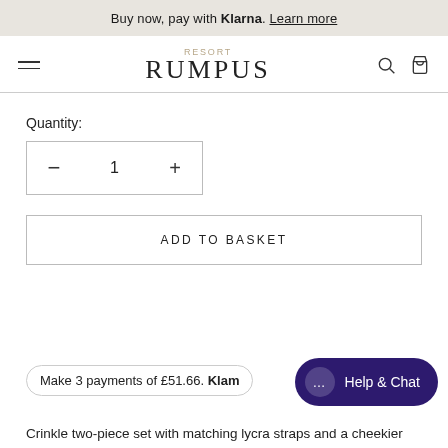Buy now, pay with Klarna. Learn more
[Figure (logo): Resort Rumpus brand logo with hamburger menu, search and bag icons in navigation bar]
Quantity:
[Figure (other): Quantity selector with minus button, 1, and plus button inside a bordered box]
ADD TO BASKET
Make 3 payments of £51.66. Klarna
Help & Chat
Crinkle two-piece set with matching lycra straps and a cheekier